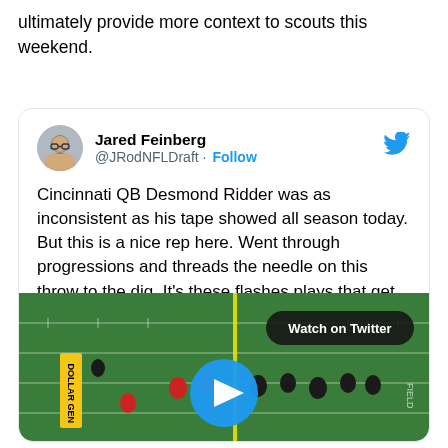ultimately provide more context to scouts this weekend.
[Figure (screenshot): Embedded tweet from Jared Feinberg (@JRodNFLDraft) with text: 'Cincinnati QB Desmond Ridder was as inconsistent as his tape showed all season today. But this is a nice rep here. Went through progressions and threads the needle on this throw to the dig. It's these flashes plays that get ppl giddy on Ridder. #SeniorBowl' with a video thumbnail of a football field with a 'Watch on Twitter' badge and a play button.]